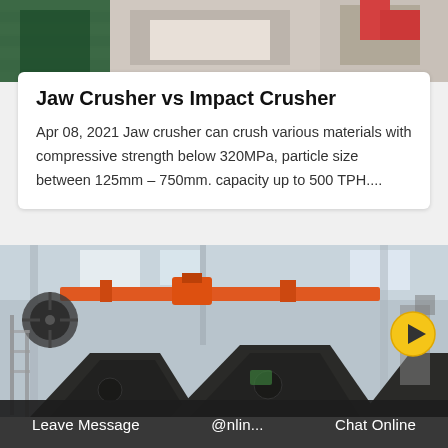[Figure (photo): Top portion of industrial crusher machinery photo, partially visible at top of page with green and red metal parts]
Jaw Crusher vs Impact Crusher
Apr 08, 2021 Jaw crusher can crush various materials with compressive strength below 320MPa, particle size between 125mm – 750mm. capacity up to 500 TPH....
[Figure (photo): Interior of industrial factory showing large heavy jaw crusher equipment in foreground (dark metal V-shaped frames), with overhead orange crane/hoist, industrial fans, and warehouse structure in background]
Leave Message   @nlin...   Chat Online